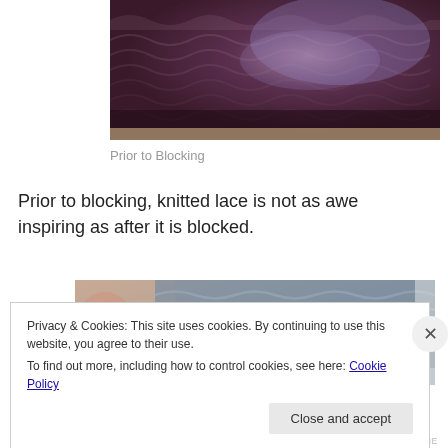[Figure (photo): Close-up of dark purple/maroon knitted lace fabric before blocking, showing textured stitch pattern.]
Prior to Blocking
Prior to blocking, knitted lace is not as awe inspiring as after it is blocked.
[Figure (photo): Partial photo of knitted lace fabric after blocking, showing grey/blue textured piece laid on a surface.]
Privacy & Cookies: This site uses cookies. By continuing to use this website, you agree to their use.
To find out more, including how to control cookies, see here: Cookie Policy
Close and accept